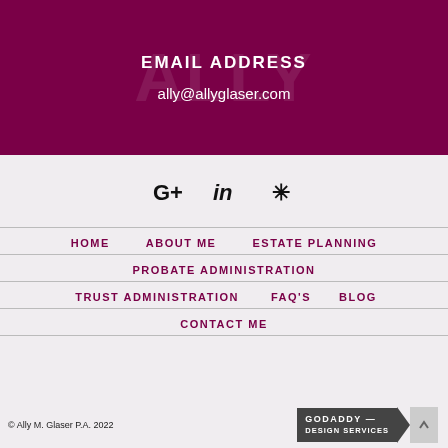EMAIL ADDRESS
ally@allyglaser.com
[Figure (infographic): Social media icons: Google+, LinkedIn, Yelp]
HOME
ABOUT ME
ESTATE PLANNING
PROBATE ADMINISTRATION
TRUST ADMINISTRATION
FAQ'S
BLOG
CONTACT ME
© Ally M. Glaser P.A. 2022